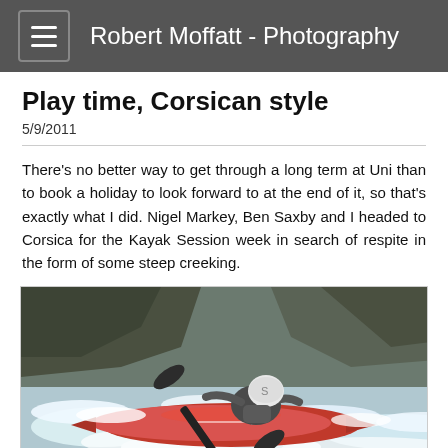Robert Moffatt - Photography
Play time, Corsican style
5/9/2011
There's no better way to get through a long term at Uni than to book a holiday to look forward to at the end of it, so that's exactly what I did. Nigel Markey, Ben Saxby and I headed to Corsica for the Kayak Session week in search of respite in the form of some steep creeking.
[Figure (photo): Kayaker in a red kayak paddling through white water rapids with rocky cliff background]